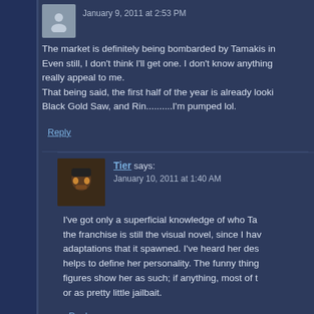January 9, 2011 at 2:53 PM
The market is definitely being bombarded by Tamakis in Even still, I don't think I'll get one. I don't know anything really appeal to me. That being said, the first half of the year is already looki Black Gold Saw, and Rin..........I'm pumped lol.
Reply
Tier says:
January 10, 2011 at 1:40 AM
I've got only a superficial knowledge of who Ta the franchise is still the visual novel, since I ha adaptations that it spawned. I've heard her des helps to define her personality. The funny thing figures show her as such; if anything, most of t or as pretty little jailbait.
Reply